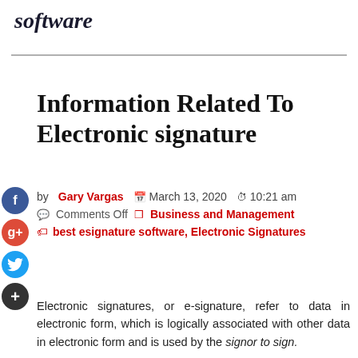software
Information Related To Electronic signature
by Gary Vargas   March 13, 2020   10:21 am   Comments Off   Business and Management   best esignature software, Electronic Signatures
Electronic signatures, or e-signature, refer to data in electronic form, which is logically associated with other data in electronic form and is used by the signor to sign.